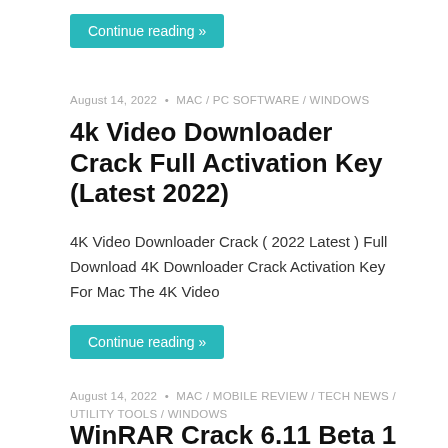Continue reading »
August 14, 2022 • MAC / PC SOFTWARE / WINDOWS
4k Video Downloader Crack Full Activation Key (Latest 2022)
4K Video Downloader Crack ( 2022 Latest ) Full Download 4K Downloader Crack Activation Key For Mac The 4K Video
Continue reading »
August 14, 2022 • MAC / Mobile Review / Tech News / UTILITY TOOLS / WINDOWS
WinRAR Crack 6.11 Beta 1 Keygen